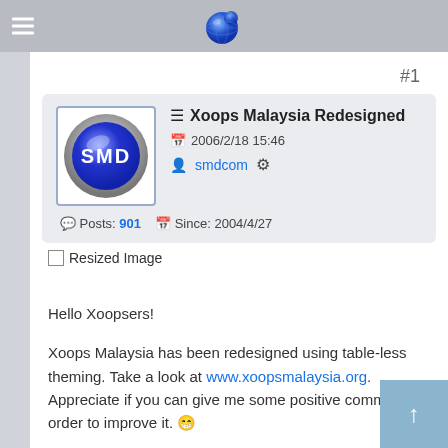View mode
#1
☰ Xoops Malaysia Redesigned
📅 2006/2/18 15:46
👤 smdcom ⚙
💬 Posts: 901  📅 Since: 2004/4/27
Resized Image
Hello Xoopsers!

Xoops Malaysia has been redesigned using table-less theming. Take a look at www.xoopsmalaysia.org. Appreciate if you can give me some positive comment in order to improve it. 😁